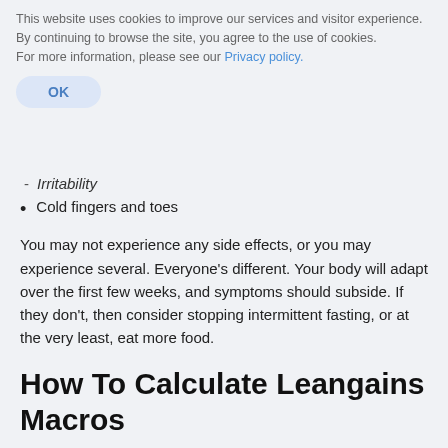This website uses cookies to improve our services and visitor experience. By continuing to browse the site, you agree to the use of cookies.
For more information, please see our Privacy policy.
OK
- Irritability
Cold fingers and toes
You may not experience any side effects, or you may experience several. Everyone's different. Your body will adapt over the first few weeks, and symptoms should subside. If they don't, then consider stopping intermittent fasting, or at the very least, eat more food.
How To Calculate Leangains Macros
Step 1: Calculate Your BMR
The first step in calculating your required macros is to